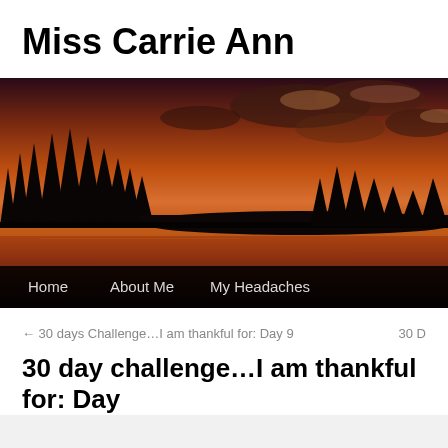Miss Carrie Ann
[Figure (photo): Panoramic sunset/dusk photo of a lake with silhouetted conifer trees along the shoreline, orange and purple sky with clouds reflected in the calm water. Navigation bar at bottom with links: Home, About Me, My Headaches.]
← 30 days Challenge…I am thankful for: Day 9    30 D
30 day challenge…I am thankful for: Day